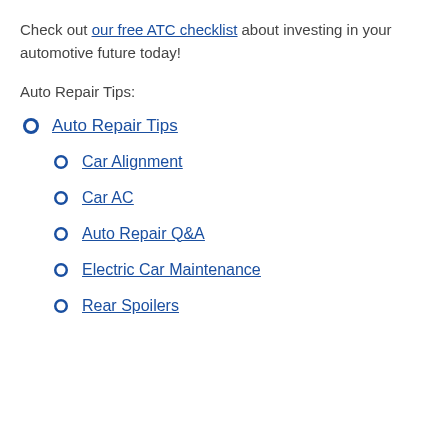Check out our free ATC checklist about investing in your automotive future today!
Auto Repair Tips:
Auto Repair Tips
Car Alignment
Car AC
Auto Repair Q&A
Electric Car Maintenance
Rear Spoilers